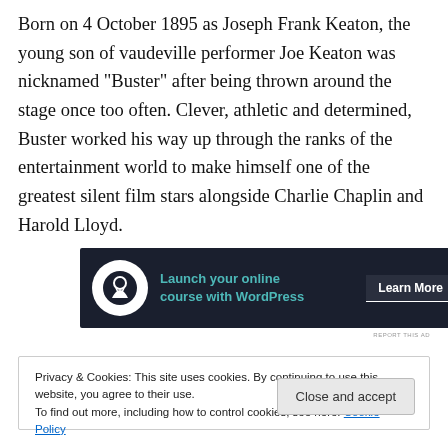Born on 4 October 1895 as Joseph Frank Keaton, the young son of vaudeville performer Joe Keaton was nicknamed “Buster” after being thrown around the stage once too often. Clever, athletic and determined, Buster worked his way up through the ranks of the entertainment world to make himself one of the greatest silent film stars alongside Charlie Chaplin and Harold Lloyd.
[Figure (other): Advertisement banner with dark navy background showing a circular logo icon, teal text 'Launch your online course with WordPress', and a 'Learn More' button]
REPORT THIS AD
Privacy & Cookies: This site uses cookies. By continuing to use this website, you agree to their use.
To find out more, including how to control cookies, see here: Cookie Policy